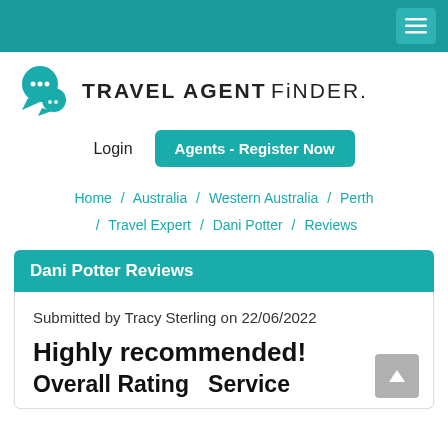Travel Agent Finder — top navigation bar with hamburger menu
[Figure (logo): Travel Agent Finder logo: teal chat-bubble icon and bold text TRAVEL AGENT FiNDER.]
Login   Agents - Register Now
Home / Australia / Western Australia / Perth / Travel Expert / Dani Potter / Reviews
Dani Potter Reviews
Submitted by Tracy Sterling on 22/06/2022
Highly recommended!
Overall Rating   Service